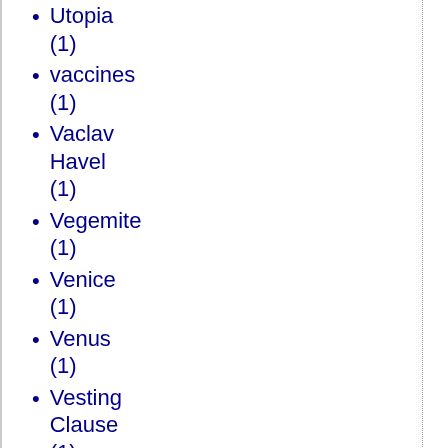Utopia (1)
vaccines (1)
Vaclav Havel (1)
Vegemite (1)
Venice (1)
Venus (1)
Vesting Clause (1)
VFR (2)
vices (1)
Victimless Crimes (1)
Victoria Coates (1)